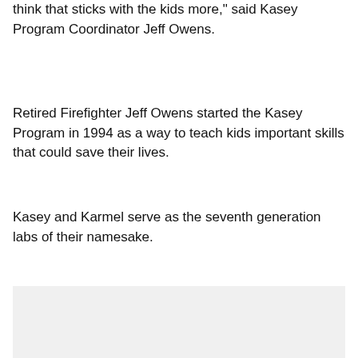think that sticks with the kids more," said Kasey Program Coordinator Jeff Owens.
Retired Firefighter Jeff Owens started the Kasey Program in 1994 as a way to teach kids important skills that could save their lives.
Kasey and Karmel serve as the seventh generation labs of their namesake.
[Figure (photo): A gray placeholder image area at the bottom of the page.]